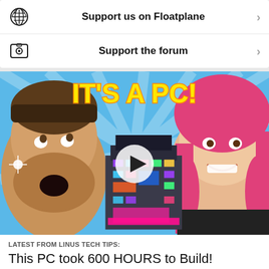Support us on Floatplane >
Support the forum >
[Figure (screenshot): Video thumbnail showing two people reacting with surprise, a cyberpunk-style PC build in the center, and bold yellow text reading IT'S A PC! on a blue background, with a play button overlay.]
LATEST FROM LINUS TECH TIPS:
This PC took 600 HOURS to Build!